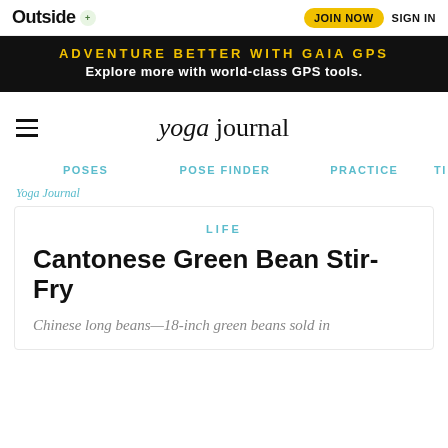Outside | JOIN NOW | SIGN IN
[Figure (infographic): Black banner advertisement: ADVENTURE BETTER WITH GAIA GPS — Explore more with world-class GPS tools.]
yoga journal — POSES | POSE FINDER | PRACTICE | TI
Yoga Journal
LIFE
Cantonese Green Bean Stir-Fry
Chinese long beans—18-inch green beans sold in